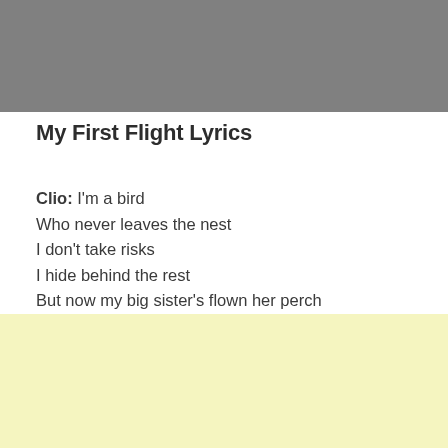[Figure (other): Gray banner/header bar at the top of the page]
My First Flight Lyrics
Clio: I'm a bird
Who never leaves the nest
I don't take risks
I hide behind the rest
But now my big sister's flown her perch
And it's up to me to search
[Figure (other): Light yellow/cream decorative bar at the bottom of the page]